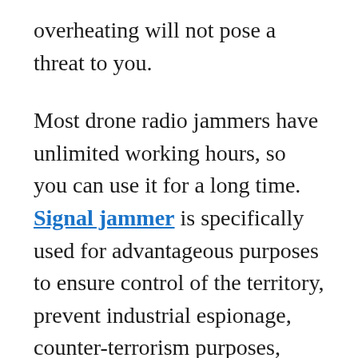overheating will not pose a threat to you.
Most drone radio jammers have unlimited working hours, so you can use it for a long time. Signal jammer is specifically used for advantageous purposes to ensure control of the territory, prevent industrial espionage, counter-terrorism purposes, attempts to move narcotic substances, certain types of weapons, personal family information or commercial espionage, etc. 2.4 GHz jammer for drones-ideal for any citizen who cares about privacy. If you have any questions about drone blockers, you can call our manager or send a message. We are happy to answer all your questions. In addition, we will help you choose a suppressor